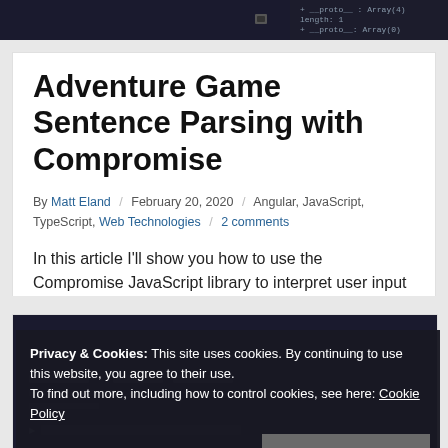[Figure (screenshot): Dark terminal/code screenshot at the top of the page showing code output]
Adventure Game Sentence Parsing with Compromise
By Matt Eland / February 20, 2020 / Angular, JavaScript, TypeScript, Web Technologies / 2 comments
In this article I'll show you how to use the Compromise JavaScript library to interpret user input and translate it to a hierarchical sentence graph.
[Figure (screenshot): Dark code/terminal screenshot at the bottom portion of the page, partially obscured by cookie banner]
Privacy & Cookies: This site uses cookies. By continuing to use this website, you agree to their use. To find out more, including how to control cookies, see here: Cookie Policy